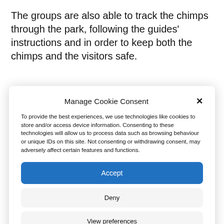The groups are also able to track the chimps through the park, following the guides' instructions and in order to keep both the chimps and the visitors safe.
Manage Cookie Consent
To provide the best experiences, we use technologies like cookies to store and/or access device information. Consenting to these technologies will allow us to process data such as browsing behaviour or unique IDs on this site. Not consenting or withdrawing consent, may adversely affect certain features and functions.
Accept
Deny
View preferences
Cookie Policy  Privacy Policy